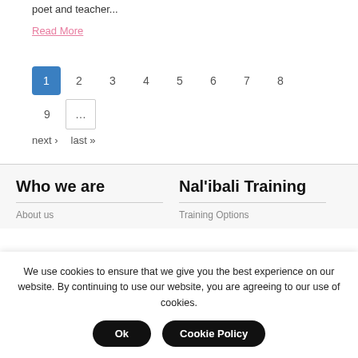poet and teacher...
Read More
1 2 3 4 5 6 7 8 9 ... next › last »
Who we are
About us
Nal'ibali Training
Training Options
We use cookies to ensure that we give you the best experience on our website. By continuing to use our website, you are agreeing to our use of cookies.
Ok
Cookie Policy